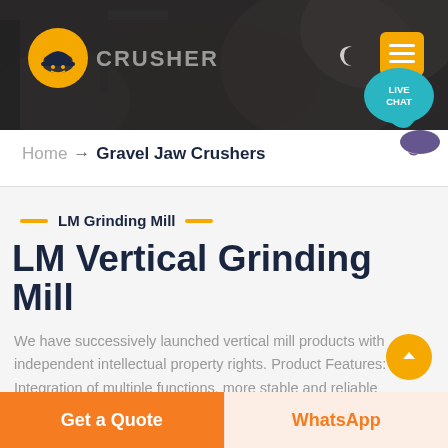[Figure (photo): Dark industrial background image showing heavy machinery/crusher equipment]
CRUSHER — Home → Gravel Jaw Crushers
Home → Gravel Jaw Crushers
LM Grinding Mill
LM Vertical Grinding Mill
We have successively launched vertical mill products with independent intellectual property rights. Product Features: Integration of multiple functions, more stable and reliable production and more excellent capacity